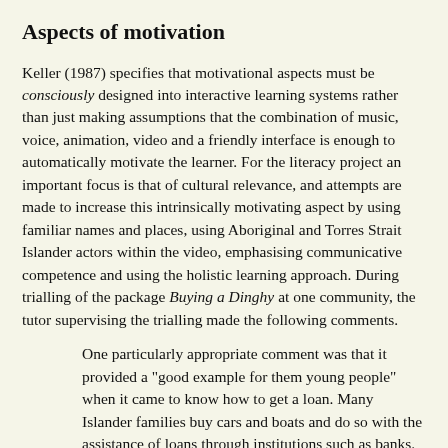Aspects of motivation
Keller (1987) specifies that motivational aspects must be consciously designed into interactive learning systems rather than just making assumptions that the combination of music, voice, animation, video and a friendly interface is enough to automatically motivate the learner. For the literacy project an important focus is that of cultural relevance, and attempts are made to increase this intrinsically motivating aspect by using familiar names and places, using Aboriginal and Torres Strait Islander actors within the video, emphasising communicative competence and using the holistic learning approach. During trialling of the package Buying a Dinghy at one community, the tutor supervising the trialling made the following comments.
One particularly appropriate comment was that it provided a "good example for them young people" when it came to know how to get a loan. Many Islander families buy cars and boats and do so with the assistance of loans through institutions such as banks. This means that the choice of area upon which to focus the package, and the skills highlighted in that area, is of real relevance when seeking to provide support for an indigenous group as they struggle with